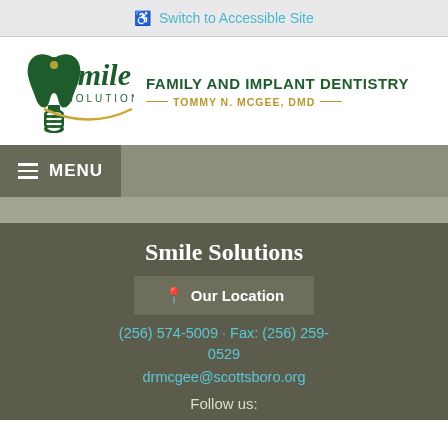Switch to Accessible Site
[Figure (logo): Smile Solutions Family and Implant Dentistry logo with tooth and implant graphic, text: FAMILY AND IMPLANT DENTISTRY - TOMMY N. MCGEE, DMD]
MENU
Smile Solutions
Our Location
(256) 574-5009 · Fax: (256) 259-0529
drmcgee@scottsboro.org
Follow us: